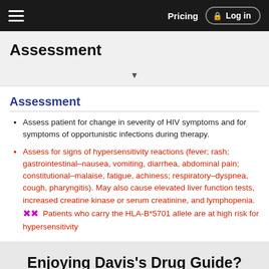Pricing  Log in
Assessment
Assessment
Assess patient for change in severity of HIV symptoms and for symptoms of opportunistic infections during therapy.
Assess for signs of hypersensitivity reactions (fever; rash; gastrointestinal–nausea, vomiting, diarrhea, abdominal pain; constitutional–malaise, fatigue, achiness; respiratory–dyspnea, cough, pharyngitis). May also cause elevated liver function tests, increased creatine kinase or serum creatinine, and lymphopenia. Patients who carry the HLA-B*5701 allele are at high risk for hypersensitivity
Enjoying Davis's Drug Guide?
Access up-to-date medical information for less than $1 a week
Purchase a subscription
I'm already a subscriber